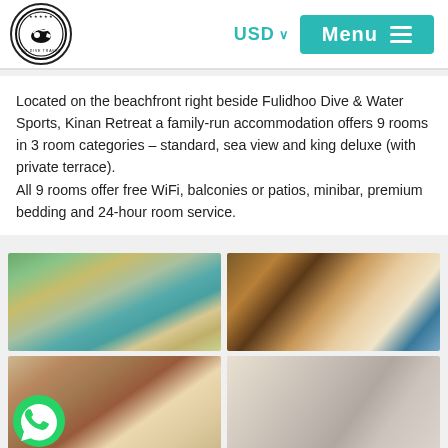USD  Menu
Located on the beachfront right beside Fulidhoo Dive & Water Sports, Kinan Retreat a family-run accommodation offers 9 rooms in 3 room categories – standard, sea view and king deluxe (with private terrace).
All 9 rooms offer free WiFi, balconies or patios, minibar, premium bedding and 24-hour room service.
[Figure (photo): Exterior of Kinan Retreat building with blue/teal kiosk and tropical trees]
[Figure (photo): Hotel bedroom with large glass sliding doors, wooden floors, white bed with rose petal decoration and turquoise chair]
[Figure (photo): Hotel room interior with wooden headboard and white bedding]
[Figure (photo): Bathroom with walk-in shower and beige tiles]